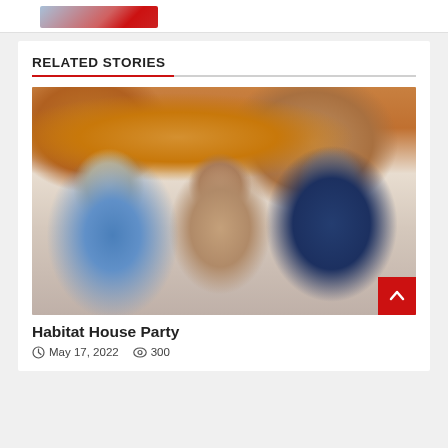[Figure (photo): Partial top image visible at very top of page, cropped]
RELATED STORIES
[Figure (photo): Photo of three smiling people at an event (Habitat House Party). Left: bald man in blue pullover. Center: woman with short brown hair in beige sweater. Right: older man in navy vest over plaid shirt. Warm indoor event lighting with purple accent light in background.]
Habitat House Party
May 17, 2022  300